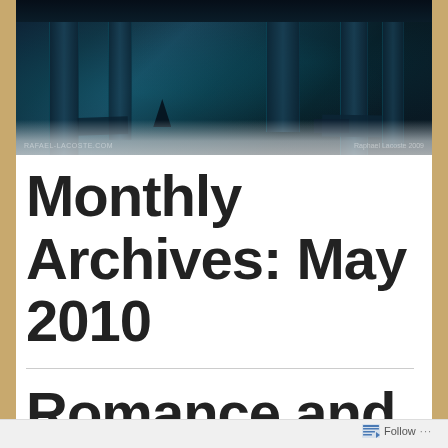[Figure (illustration): Dark fantasy banner image showing a teal-lit underground or ruined environment with pillars, atmospheric fog, and snowy ground. Watermarks read 'RAFAEL-LACOSTE.COM' on lower left and 'Raphael Lacoste 2009' on lower right.]
Monthly Archives: May 2010
Romance and
Follow